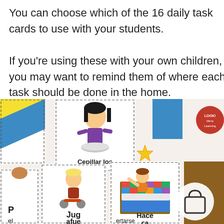You can choose which of the 16 daily task cards to use with your students.

If you're using these with your own children, you may want to remind them of where each task should be done in the home.
[Figure (photo): A photograph of Spanish-language daily task cards for children, showing illustrated cards with activities such as 'Cepillar los (dientes)' (brushing teeth), 'Hacer (la cama)' (making the bed), 'Jugar afuera' (playing outside), and others. Cards feature cartoon children performing household tasks.]